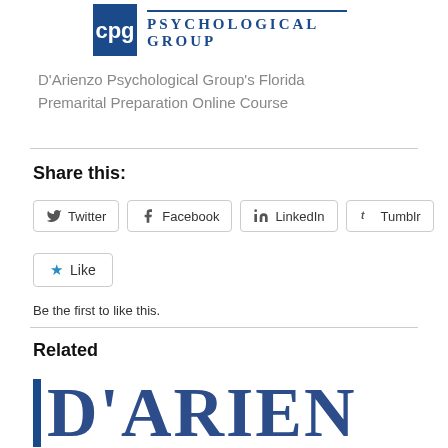[Figure (logo): D'Arienzo Psychological Group logo with blue square icon and text]
D'Arienzo Psychological Group's Florida Premarital Preparation Online Course
Share this:
Twitter  Facebook  LinkedIn  Tumblr
Like
Be the first to like this.
Related
[Figure (logo): D'Arienzo Psychological Group logo partial, large serif text D'ARIEN with blue vertical bar]